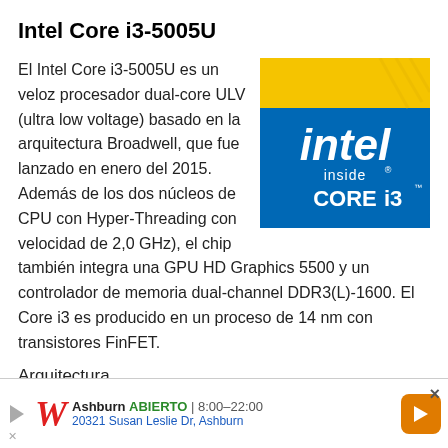Intel Core i3-5005U
El Intel Core i3-5005U es un veloz procesador dual-core ULV (ultra low voltage) basado en la arquitectura Broadwell, que fue lanzado en enero del 2015. Además de los dos núcleos de CPU con Hyper-Threading con velocidad de 2,0 GHz), el chip también integra una GPU HD Graphics 5500 y un controlador de memoria dual-channel DDR3(L)-1600. El Core i3 es producido en un proceso de 14 nm con transistores FinFET.
[Figure (logo): Intel inside CORE i3 logo badge with blue background and yellow top portion]
Arquitectura
Broadwell representa el "Tick" en el modelo Tick-Tock de Intel lo que significa...
[Figure (other): Walgreens advertisement banner: Ashburn ABIERTO 8:00-22:00, 20321 Susan Leslie Dr, Ashburn with navigation arrow]